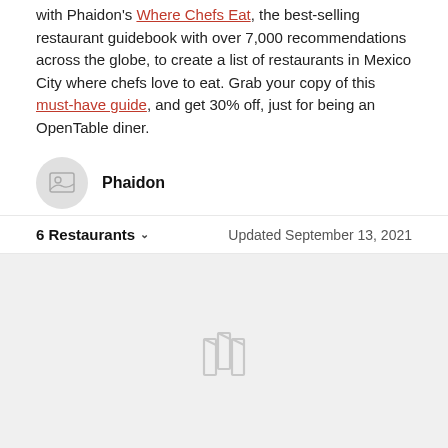with Phaidon's Where Chefs Eat, the best-selling restaurant guidebook with over 7,000 recommendations across the globe, to create a list of restaurants in Mexico City where chefs love to eat. Grab your copy of this must-have guide, and get 30% off, just for being an OpenTable diner.
Phaidon
6 Restaurants   Updated September 13, 2021
[Figure (map): Map placeholder icon on light gray background]
Booking cell with calendar icon and clock icon